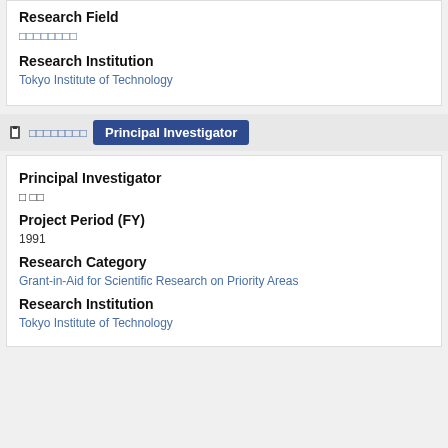Research Field
□□□□□□□□
Research Institution
Tokyo Institute of Technology
□□□□□□□□  Principal Investigator
Principal Investigator
□ □□
Project Period (FY)
1991
Research Category
Grant-in-Aid for Scientific Research on Priority Areas
Research Institution
Tokyo Institute of Technology